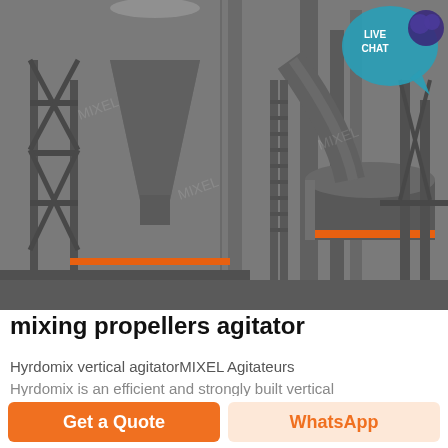[Figure (photo): Industrial mixing equipment installation showing vertical agitators, large conical hopper/cyclone, pipework, metal framework and tanks in a factory setting. Orange accent stripe visible on tank. 'LIVE CHAT' badge overlay in top right corner.]
mixing propellers agitator
Hyrdomix vertical agitatorMIXEL Agitateurs
Hyrdomix is an efficient and strongly built vertical
Get a Quote
WhatsApp